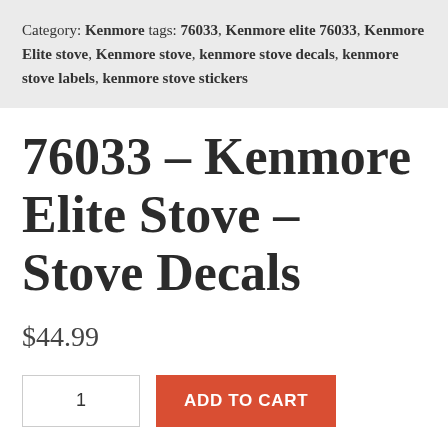Category: Kenmore tags: 76033, Kenmore elite 76033, Kenmore Elite stove, Kenmore stove, kenmore stove decals, kenmore stove labels, kenmore stove stickers
76033 – Kenmore Elite Stove – Stove Decals
$44.99
1  ADD TO CART